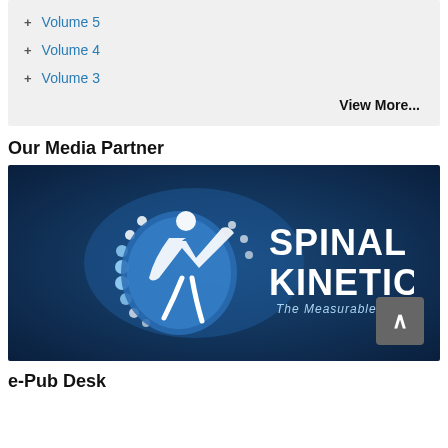+ Volume 5
+ Volume 4
+ Volume 3
View More...
Our Media Partner
[Figure (logo): Spinal Kinetics logo — blue background with stylized human figure and spine graphic; text reads SPINAL KINETICS The Measurable Difference]
e-Pub Desk